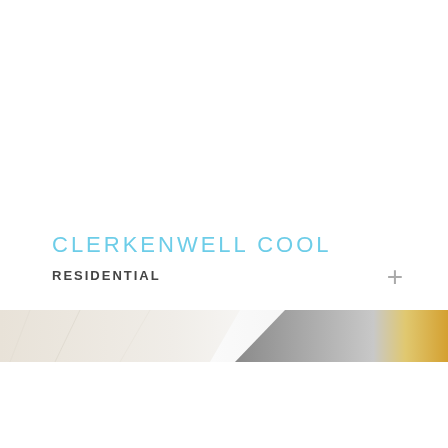CLERKENWELL COOL
RESIDENTIAL
[Figure (illustration): Decorative strip of interior/material images at bottom of page, showing light marble/stone texture on the left and metallic grey and gold tones on the right]